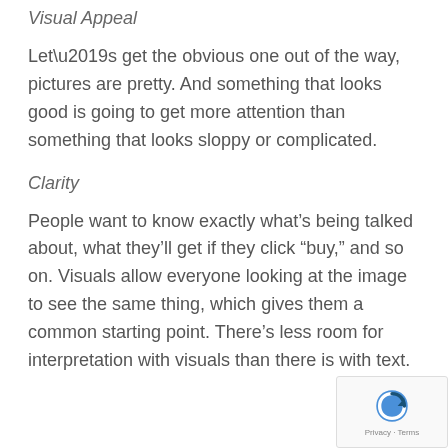Visual Appeal
Let’s get the obvious one out of the way, pictures are pretty. And something that looks good is going to get more attention than something that looks sloppy or complicated.
Clarity
People want to know exactly what’s being talked about, what they’ll get if they click “buy,” and so on. Visuals allow everyone looking at the image to see the same thing, which gives them a common starting point. There’s less room for interpretation with visuals than there is with text.